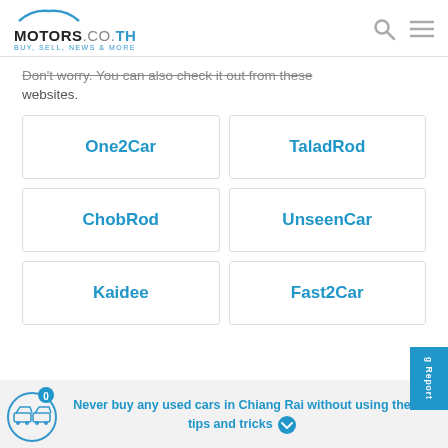MOTORS.CO.TH BUY, SELL, NEWS & MORE
Don't worry. You can also check it out from these websites.
One2Car
TaladRod
ChobRod
UnseenCar
Kaidee
Fast2Car
Never buy any used cars in Chiang Rai without using the tips and tricks